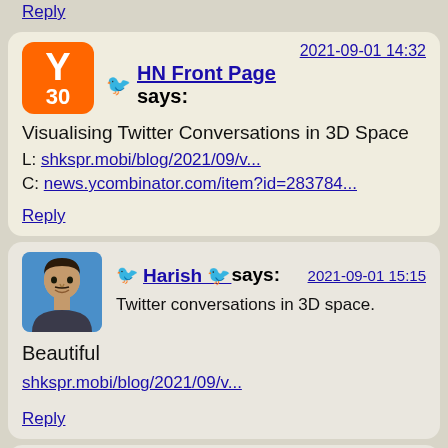Reply
HN Front Page says: 2021-09-01 14:32
Visualising Twitter Conversations in 3D Space
L: shkspr.mobi/blog/2021/09/v...
C: news.ycombinator.com/item?id=283784...
Reply
Harish 🐦 says: 2021-09-01 15:15
Twitter conversations in 3D space.
Beautiful
shkspr.mobi/blog/2021/09/v...
Reply
2021-09-02 08:4...